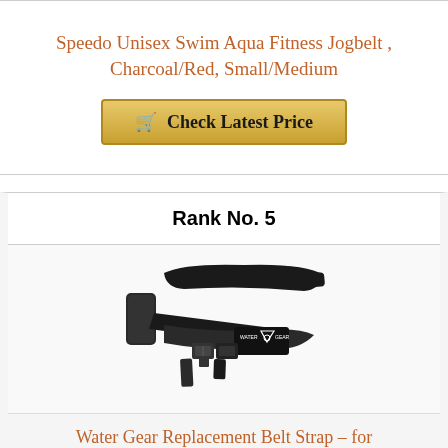Speedo Unisex Swim Aqua Fitness Jogbelt , Charcoal/Red, Small/Medium
[Figure (other): Golden 'Check Latest Price' button with shopping cart icon]
Rank No. 5
[Figure (photo): Water Gear black replacement belt strap with buckle and foam pad]
Water Gear Replacement Belt Strap – for